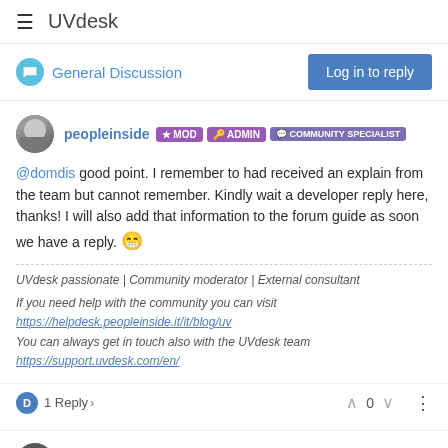≡ UVdesk
General Discussion
peopleinside MOD ADMIN COMMUNITY SPECIALIST
@domdis good point. I remember to had received an explain from the team but cannot remember. Kindly wait a developer reply here, thanks! I will also add that information to the forum guide as soon we have a reply. 😁
UVdesk passionate | Community moderator | External consultant
If you need help with the community you can visit https://helpdesk.peopleinside.it/it/blog/uv You can always get in touch also with the UVdesk team https://support.uvdesk.com/en/
1 Reply > 0
DomDis